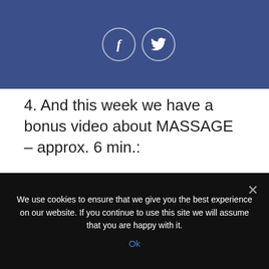[Figure (other): Dark blue header bar with two circular social media icons: Facebook (f) and Twitter (bird icon)]
4. And this week we have a bonus video about MASSAGE – approx. 6 min.:
We use cookies to ensure that we give you the best experience on our website. If you continue to use this site we will assume that you are happy with it.
Ok